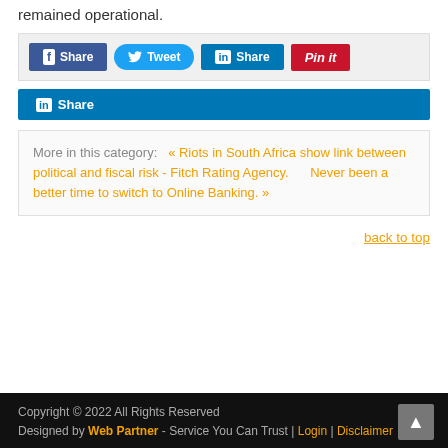remained operational.
[Figure (other): Social share buttons bar: Facebook Share, Tweet, LinkedIn Share, Pinterest Pin it]
[Figure (other): LinkedIn Share button (standalone)]
More in this category: « Riots in South Africa show link between political and fiscal risk - Fitch Rating Agency. Never been a better time to switch to Online Banking. »
back to top
Copyright © 2022 All Rights Reserved
Designed by Web Partner - Service You Can Trust | Login | Disclaimer